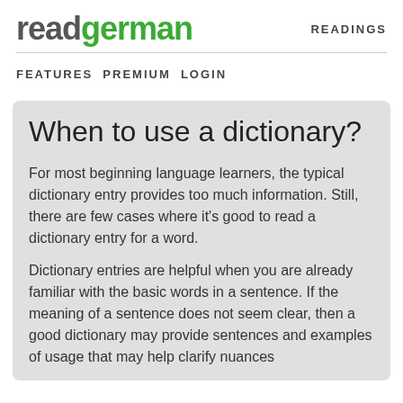[Figure (logo): readgerman logo with 'read' in dark gray and 'german' in green]
READINGS
FEATURES  PREMIUM  LOGIN
When to use a dictionary?
For most beginning language learners, the typical dictionary entry provides too much information. Still, there are few cases where it's good to read a dictionary entry for a word.
Dictionary entries are helpful when you are already familiar with the basic words in a sentence. If the meaning of a sentence does not seem clear, then a good dictionary may provide sentences and examples of usage that may help clarify nuances